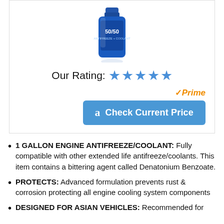[Figure (photo): Blue bottle of engine antifreeze/coolant labeled 50/50]
Our Rating: ★★★★★
[Figure (logo): Amazon Prime badge with checkmark]
Check Current Price (Amazon button)
1 GALLON ENGINE ANTIFREEZE/COOLANT: Fully compatible with other extended life antifreeze/coolants. This item contains a bittering agent called Denatonium Benzoate.
PROTECTS: Advanced formulation prevents rust & corrosion protecting all engine cooling system components
DESIGNED FOR ASIAN VEHICLES: Recommended for